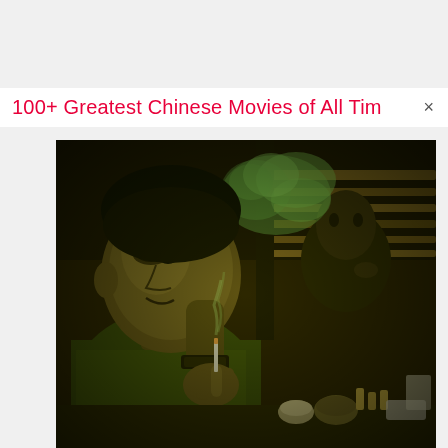100+ Greatest Chinese Movies of All Tim
[Figure (photo): A cinematic still from a Chinese film showing a man in the foreground with a cigarette, smoke rising, with another person visible in the background. The image has a strong green-yellow color grading with dark, moody restaurant/diner setting.]